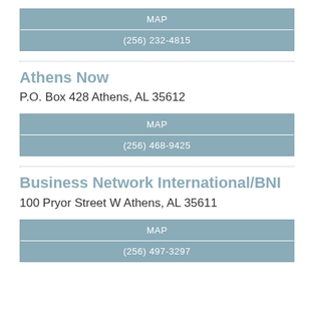| MAP |
| (256) 232-4815 |
Athens Now
P.O. Box 428 Athens, AL 35612
| MAP |
| (256) 468-9425 |
Business Network International/BNI
100 Pryor Street W Athens, AL 35611
| MAP |
| (256) 497-3297 |